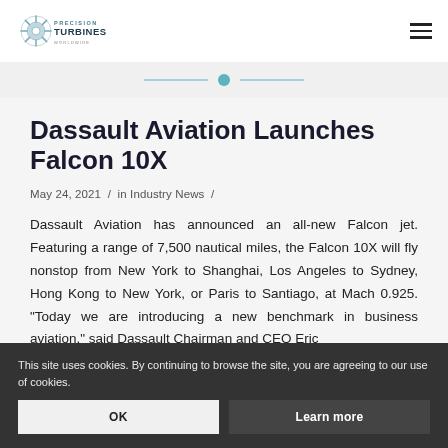Precision Turbines logo and navigation menu
Dassault Aviation Launches Falcon 10X
May 24, 2021 / in Industry News /
Dassault Aviation has announced an all-new Falcon jet. Featuring a range of 7,500 nautical miles, the Falcon 10X will fly nonstop from New York to Shanghai, Los Angeles to Sydney, Hong Kong to New York, or Paris to Santiago, at Mach 0.925. "Today we are introducing a new benchmark in business aviation," said Dassault Chairman and CEO Eric
This site uses cookies. By continuing to browse the site, you are agreeing to our use of cookies.